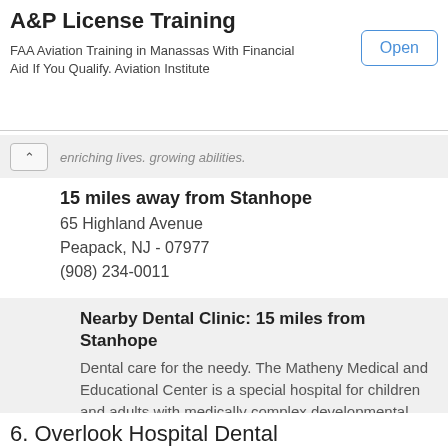A&P License Training
FAA Aviation Training in Manassas With Financial Aid If You Qualify. Aviation Institute
Open
enriching lives. growing abilities.
15 miles away from Stanhope
65 Highland Avenue
Peapack, NJ - 07977
(908) 234-0011
Nearby Dental Clinic: 15 miles from Stanhope
Dental care for the needy. The Matheny Medical and Educational Center is a special hospital for children and adults with medically complex developmental disabilities. A special education school providing academics, combined with functional life skills, for students, ages 3-21 A comprehensive ou
email website
See Clinic Full Details
6. Overlook Hospital Dental Care Center